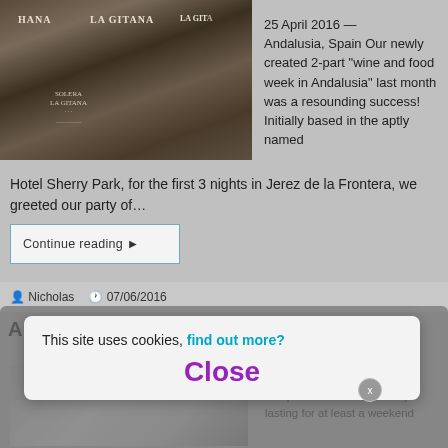[Figure (photo): Man drawing wine from barrels in a wine cellar. Barrels labeled LA GITANA and SOLERA LA GITANA visible in background.]
25 April 2016 — Andalusia, Spain Our newly created 2-part “wine and food week in Andalusia” last month was a resounding success! Initially based in the aptly named Hotel Sherry Park, for the first 3 nights in Jerez de la Frontera, we greeted our party of…
Continue reading ►
Nicholas   07/06/2016
A mini wine tour for £45
[Figure (photo): Partially visible wine-related photo, obscured by cookie banner.]
Our wine tours are usually complete wine-tasting h…days lasting for at least a weekend
This site uses cookies, find out more?   Close